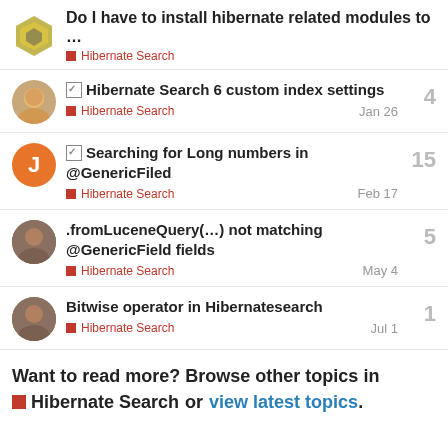Do I have to install hibernate related modules to … | Hibernate Search
Hibernate Search 6 custom index settings | Hibernate Search | Jan 26 | 4 replies
Searching for Long numbers in @GenericFiled | Hibernate Search | Feb 17 | 15 replies
.fromLuceneQuery(…) not matching @GenericField fields | Hibernate Search | May 4 | 5 replies
Bitwise operator in Hibernatesearch | Hibernate Search | Jul 1 | 1 reply
Want to read more? Browse other topics in Hibernate Search or view latest topics.